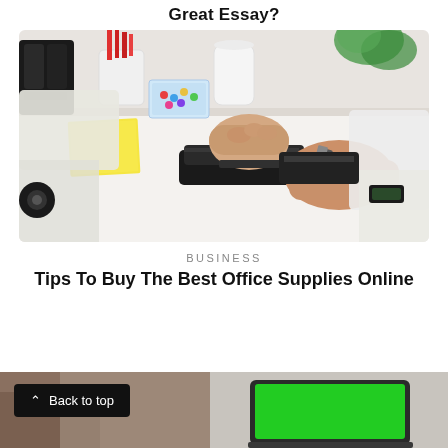Great Essay?
[Figure (photo): Person in white clothing using a box cutter/utility knife on a white desk surface, with office supplies (sticky notes, paper clips, pens, stapler) visible in the background]
BUSINESS
Tips To Buy The Best Office Supplies Online
[Figure (photo): Bottom strip showing a partial image: left side shows a person, right side shows a laptop with green screen. A 'Back to top' button overlay is visible on the left.]